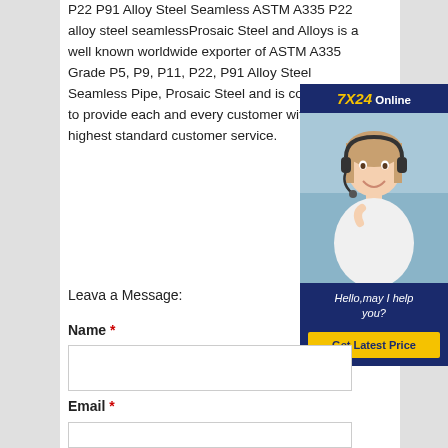P22 P91 Alloy Steel Seamless ASTM A335 P22 alloy steel seamlessProsaic Steel and Alloys is a well known worldwide exporter of ASTM A335 Grade P5, P9, P11, P22, P91 Alloy Steel Seamless Pipe, Prosaic Steel and is committed to provide each and every customer with the highest standard customer service.
[Figure (illustration): Customer service chat widget showing a smiling woman with headset, '7X24 Online' header, 'Hello, may I help you?' message, and 'Get Latest Price' button]
Leava a Message:
Name *
Email *